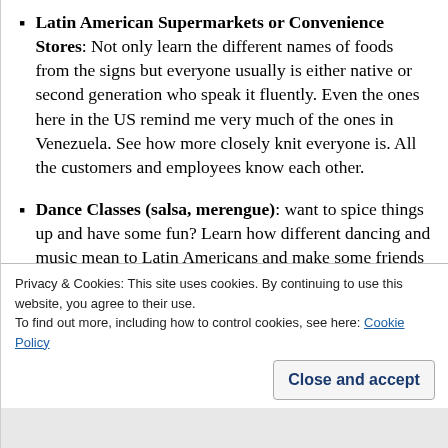Latin American Supermarkets or Convenience Stores: Not only learn the different names of foods from the signs but everyone usually is either native or second generation who speak it fluently. Even the ones here in the US remind me very much of the ones in Venezuela. See how more closely knit everyone is. All the customers and employees know each other.
Dance Classes (salsa, merengue): want to spice things up and have some fun? Learn how different dancing and music mean to Latin Americans and make some friends along the way.
Privacy & Cookies: This site uses cookies. By continuing to use this website, you agree to their use. To find out more, including how to control cookies, see here: Cookie Policy